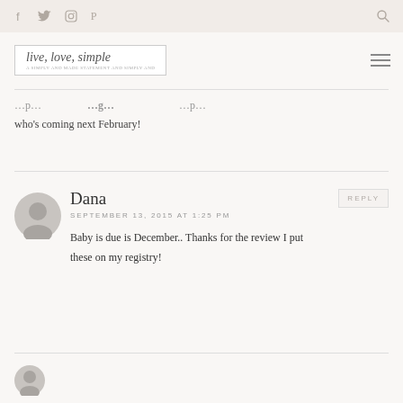live, love, simple
who's coming next February!
Dana
SEPTEMBER 13, 2015 AT 1:25 PM
Baby is due is December.. Thanks for the review I put these on my registry!